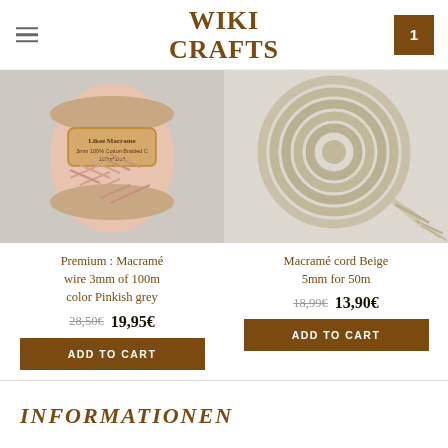WIKI CRAFTS
[Figure (photo): Pink macramé wire spool with Likee Macrame label showing 3mm 100% Cotton Braided, 100m*1roll]
Premium : Macramé wire 3mm of 100m color Pinkish grey
28,50€  19,95€
[Figure (photo): Beige macramé cord coiled in a circle, 5mm thickness]
Macramé cord Beige 5mm for 50m
18,99€  13,90€
INFORMATIONEN